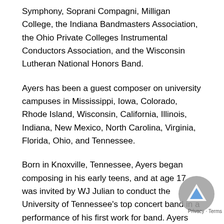Symphony, Soprani Compagni, Milligan College, the Indiana Bandmasters Association, the Ohio Private Colleges Instrumental Conductors Association, and the Wisconsin Lutheran National Honors Band.
Ayers has been a guest composer on university campuses in Mississippi, Iowa, Colorado, Rhode Island, Wisconsin, California, Illinois, Indiana, New Mexico, North Carolina, Virginia, Florida, Ohio, and Tennessee.
Born in Knoxville, Tennessee, Ayers began composing in his early teens, and at age 17 was invited by WJ Julian to conduct the University of Tennessee's top concert band in a performance of his first work for band. Ayers matriculated to the University of Tennessee for his undergraduate and Master's work, where he studied with David Van Vactor, Anthony Lennon, and Donald Neuen. Ayers holds the doctorate in music composition from the University of